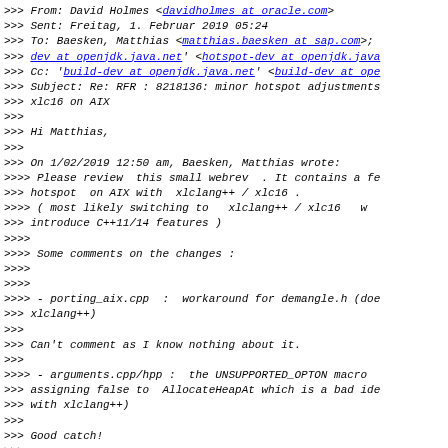>>> From: David Holmes <davidholmes at oracle.com>
>>> Sent: Freitag, 1. Februar 2019 05:24
>>> To: Baesken, Matthias <matthias.baesken at sap.com>;
>>> dev at openjdk.java.net' <hotspot-dev at openjdk.java
>>> Cc: 'build-dev at openjdk.java.net' <build-dev at ope
>>> Subject: Re: RFR : 8218136: minor hotspot adjustments
>>> xlc16 on AIX
>>>
>>> Hi Matthias,
>>>
>>> On 1/02/2019 12:50 am, Baesken, Matthias wrote:
>>>> Please review  this small webrev  . It contains a fe
>>> hotspot  on AIX with  xlclang++ / xlc16 .
>>>> ( most likely switching to   xlclang++ / xlc16   w
>>> introduce C++11/14 features )
>>>>
>>>> Some comments on the changes :
>>>>
>>>>
>>>> - porting_aix.cpp  :  workaround for demangle.h (doe
>>> xlclang++)
>>>
>>> Can't comment as I know nothing about it.
>>>
>>>> - arguments.cpp/hpp :  the UNSUPPORTED_OPTON macro
>>> assigning false to  AllocateHeapAt which is a bad ide
>>> with xlclang++)
>>>
>>> Good catch!
>>>
>>>> - globalDefinitions_xlc.hpp : xlclang++ sets